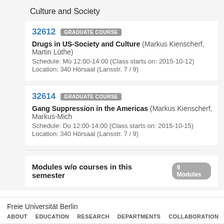Culture and Society
32612 GRADUATE COURSE
Drugs in US-Society and Culture (Markus Kienscherf, Martin Lüthe)
Schedule: Mo 12:00-14:00 (Class starts on: 2015-10-12)
Location: 340 Hörsaal (Lansstr. 7 / 9)
32614 GRADUATE COURSE
Gang Suppression in the Americas (Markus Kienscherf, Markus-Mich…)
Schedule: Do 12:00-14:00 (Class starts on: 2015-10-15)
Location: 340 Hörsaal (Lansstr. 7 / 9)
Modules w/o courses in this semester 9 Modules
Freie Universität Berlin
ABOUT   EDUCATION   RESEARCH   DEPARTMENTS   COLLABORATION